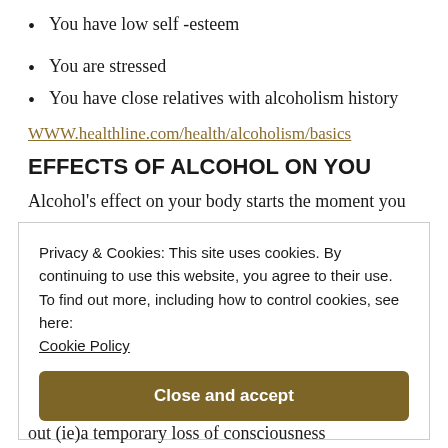You have low self-esteem
You are stressed
You have close relatives with alcoholism history
WWW.healthline.com/health/alcoholism/basics
EFFECTS OF ALCOHOL ON YOU
Alcohol's effect on your body starts the moment you
Privacy & Cookies: This site uses cookies. By continuing to use this website, you agree to their use.
To find out more, including how to control cookies, see here:
Cookie Policy
out (ie)a temporary loss of consciousness